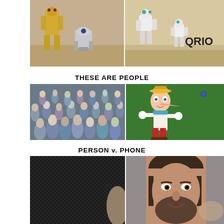[Figure (photo): C-3PO and R2-D2 Star Wars robots standing in desert]
[Figure (photo): Two white humanoid QRIO robots dancing on stage with QRIO branding]
THESE ARE PEOPLE
[Figure (photo): Large crowd of diverse people looking at camera]
[Figure (illustration): Pinocchio cartoon character with long nose]
PERSON v. PHONE
[Figure (photo): Close-up of dark carbon fiber phone surface with finger]
[Figure (photo): Man with beard looking at camera, blurred background]